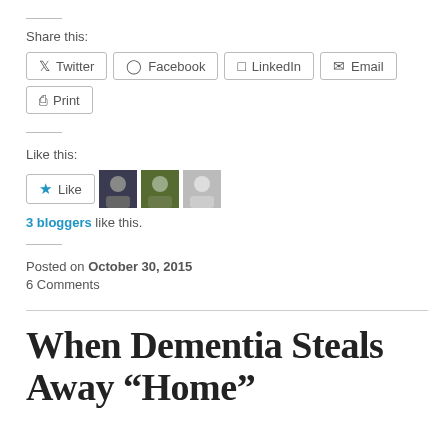Share this:
Twitter  Facebook  LinkedIn  Email  Print
Like this:
Like  3 bloggers like this.
Posted on October 30, 2015
6 Comments
When Dementia Steals Away “Home”